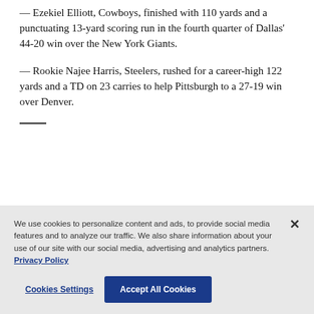— Ezekiel Elliott, Cowboys, finished with 110 yards and a punctuating 13-yard scoring run in the fourth quarter of Dallas' 44-20 win over the New York Giants.
— Rookie Najee Harris, Steelers, rushed for a career-high 122 yards and a TD on 23 carries to help Pittsburgh to a 27-19 win over Denver.
We use cookies to personalize content and ads, to provide social media features and to analyze our traffic. We also share information about your use of our site with our social media, advertising and analytics partners. Privacy Policy